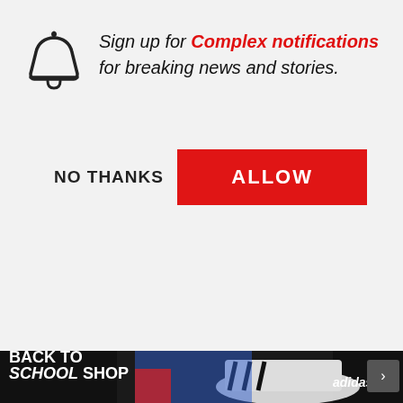Sign up for Complex notifications for breaking news and stories.
NO THANKS
ALLOW
[Figure (screenshot): Video thumbnail showing three men with Sour Patch Kids and Swedish Fish candy, with SNACKED text overlay. Arrow navigation button visible on right.]
The Try Guys Break Down Their Favorite Snacks | Snacked
[Figure (screenshot): Purple-toned concert or event photo at bottom left]
[Figure (screenshot): Adidas Back to School Shop advertisement banner showing sneakers]